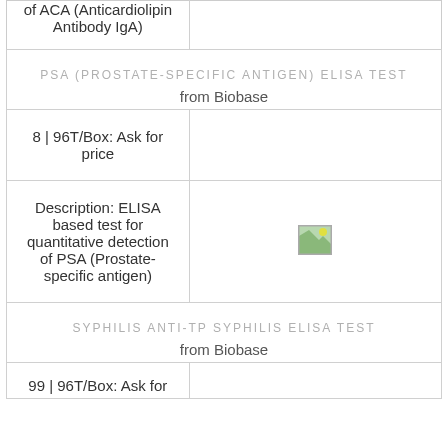of ACA (Anticardiolipin Antibody IgA)
PSA (PROSTATE-SPECIFIC ANTIGEN) ELISA TEST
from Biobase
8 | 96T/Box: Ask for price
Description: ELISA based test for quantitative detection of PSA (Prostate-specific antigen)
[Figure (photo): Small broken image placeholder icon]
SYPHILIS ANTI-TP SYPHILIS ELISA TEST
from Biobase
99 | 96T/Box: Ask for